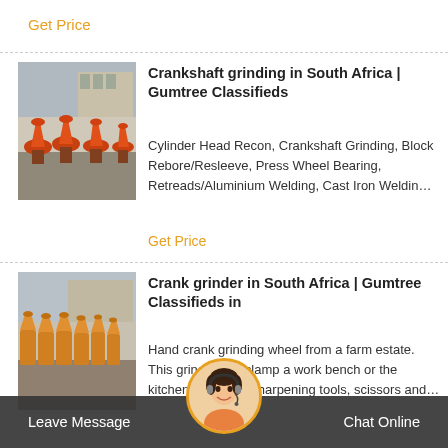Get Price
[Figure (photo): Industrial cone crushers or similar mining equipment, orange/yellow colored machines in a factory yard]
Crankshaft grinding in South Africa | Gumtree Classifieds
Cylinder Head Recon, Crankshaft Grinding, Block Rebore/Resleeve, Press Wheel Bearing, Retreads/Aluminium Welding, Cast Iron Weldin…
Get Price
[Figure (photo): Row of industrial cone crushers, yellow/orange, lined up in a factory yard]
Crank grinder in South Africa | Gumtree Classifieds in
Hand crank grinding wheel from a farm estate. This grinder can clamp a work bench or the kitchen table. For sharpening tools, scissors and…
Get Price
Leave Message   Chat Online